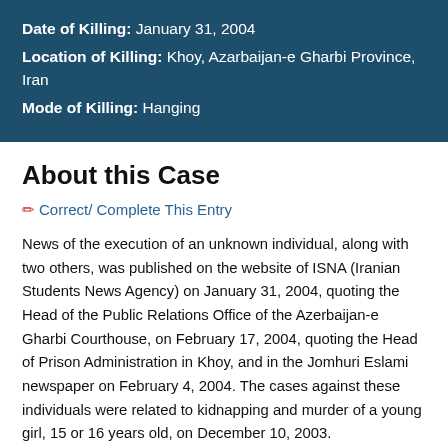Date of Killing: January 31, 2004
Location of Killing: Khoy, Azarbaijan-e Gharbi Province, Iran
Mode of Killing: Hanging
About this Case
✏ Correct/ Complete This Entry
News of the execution of an unknown individual, along with two others, was published on the website of ISNA (Iranian Students News Agency) on January 31, 2004, quoting the Head of the Public Relations Office of the Azerbaijan-e Gharbi Courthouse, on February 17, 2004, quoting the Head of Prison Administration in Khoy, and in the Jomhuri Eslami newspaper on February 4, 2004. The cases against these individuals were related to kidnapping and murder of a young girl, 15 or 16 years old, on December 10, 2003.
Arrest and detention